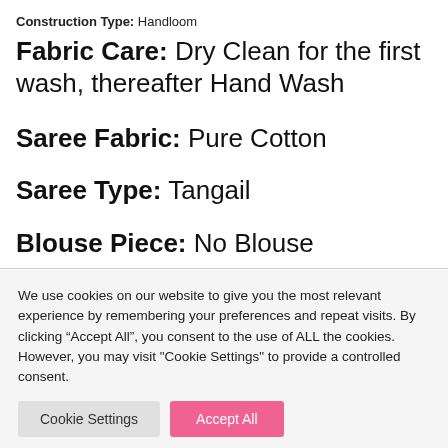Construction Type: Handloom
Fabric Care: Dry Clean for the first wash, thereafter Hand Wash
Saree Fabric: Pure Cotton
Saree Type: Tangail
Blouse Piece: No Blouse
We use cookies on our website to give you the most relevant experience by remembering your preferences and repeat visits. By clicking “Accept All”, you consent to the use of ALL the cookies. However, you may visit "Cookie Settings" to provide a controlled consent.
Cookie Settings
Accept All